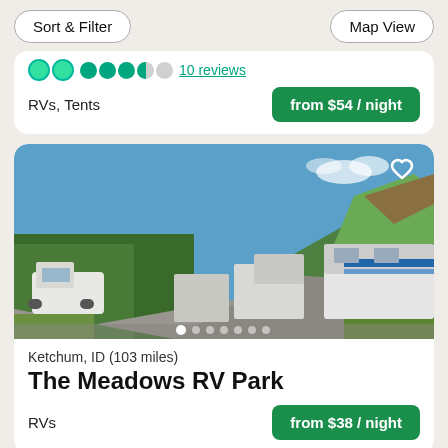Sort & Filter | Map View
10 reviews
RVs, Tents
from $54 / night
[Figure (photo): RV park with multiple RVs and trailers parked in rows on a gravel road, surrounded by tall green mountains with blue sky. White truck visible on left side. Heart/favorite icon in top right corner. Carousel dots at bottom showing 7 images.]
Ketchum, ID (103 miles)
The Meadows RV Park
RVs
from $38 / night